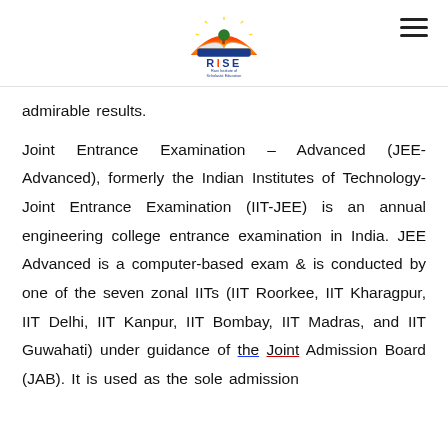[Figure (logo): RISE - Rani Institute of Scholastic Education logo with a sun/book graphic above the text]
admirable results.
Joint Entrance Examination – Advanced (JEE-Advanced), formerly the Indian Institutes of Technology-Joint Entrance Examination (IIT-JEE) is an annual engineering college entrance examination in India. JEE Advanced is a computer-based exam & is conducted by one of the seven zonal IITs (IIT Roorkee, IIT Kharagpur, IIT Delhi, IIT Kanpur, IIT Bombay, IIT Madras, and IIT Guwahati) under guidance of the Joint Admission Board (JAB). It is used as the sole admission